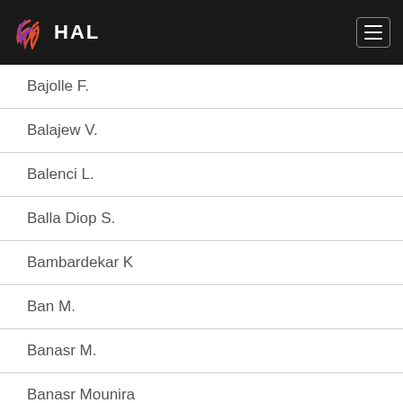HAL
Bajolle F.
Balajew V.
Balenci L.
Balla Diop S.
Bambardekar K
Ban M.
Banasr M.
Banasr Mounira
Bancila M.
Bancila Mircea
Banreti A.